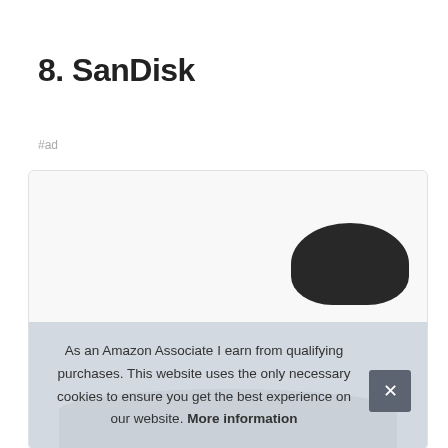8. SanDisk
#ad
[Figure (photo): Product image of a SanDisk device, showing dark circular/rounded product shape, partially visible at bottom of card]
As an Amazon Associate I earn from qualifying purchases. This website uses the only necessary cookies to ensure you get the best experience on our website. More information